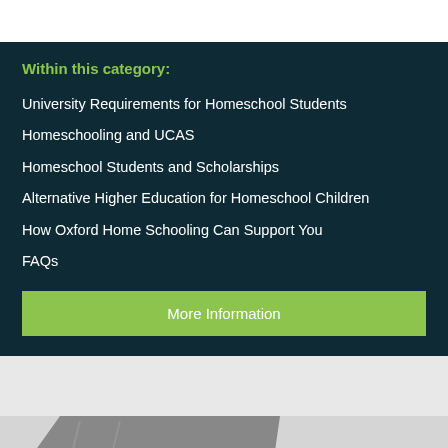Within this category:
University Requirements for Homeschool Students
Homeschooling and UCAS
Homeschool Students and Scholarships
Alternative Higher Education for Homeschool Children
How Oxford Home Schooling Can Support You
FAQs
More Information
[Figure (photo): Partial view of a laptop computer at the bottom of the page, on a light grey background.]